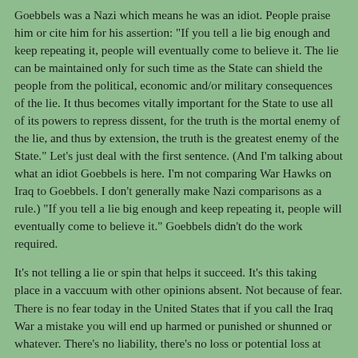Goebbels was a Nazi which means he was an idiot.  People praise him or cite him for his assertion: "If you tell a lie big enough and keep repeating it, people will eventually come to believe it.  The lie can be maintained only for such time as the State can shield the people from the political, economic and/or military consequences of the lie. It thus becomes vitally important for the State to use all of its powers to repress dissent, for the truth is the mortal enemy of the lie, and thus by extension, the truth is the greatest enemy of the State."  Let's just deal with the first sentence.  (And I'm talking about what an idiot Goebbels is here.  I'm not comparing War Hawks on Iraq to Goebbels.  I don't generally make Nazi comparisons as a rule.)  "If you tell a lie big enough and keep repeating it, people will eventually come to believe it."  Goebbels didn't do the work required.
It's not telling a lie or spin that helps it succeed.  It's this taking place in a vaccuum with other opinions absent.  Not because of fear.  There is no fear today in the United States that if you call the Iraq War a mistake you will end up harmed or punished or shunned or whatever.  There's no liability, there's no loss or potential loss at present.